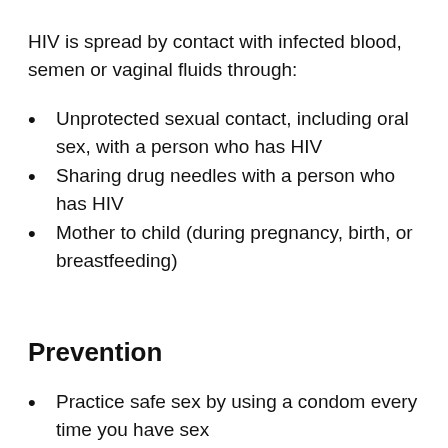HIV is spread by contact with infected blood, semen or vaginal fluids through:
Unprotected sexual contact, including oral sex, with a person who has HIV
Sharing drug needles with a person who has HIV
Mother to child (during pregnancy, birth, or breastfeeding)
Prevention
Practice safe sex by using a condom every time you have sex
Avoid injection drug use. If you use injection drugs